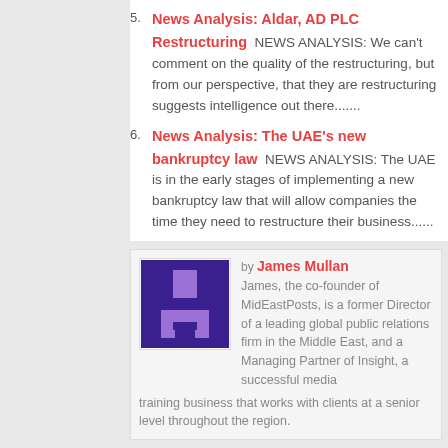5. News Analysis: Aldar, AD PLC Restructuring NEWS ANALYSIS: We can't comment on the quality of the restructuring, but from our perspective, that they are restructuring suggests intelligence out there.......
6. News Analysis: The UAE's new bankruptcy law NEWS ANALYSIS: The UAE is in the early stages of implementing a new bankruptcy law that will allow companies the time they need to restructure their business......
by James Mullan
James, the co-founder of MidEastPosts, is a former Director of a leading global public relations firm in the Middle East, and a Managing Partner of Insight, a successful media training business that works with clients at a senior level throughout the region.
You must be logged in to post a comment Login